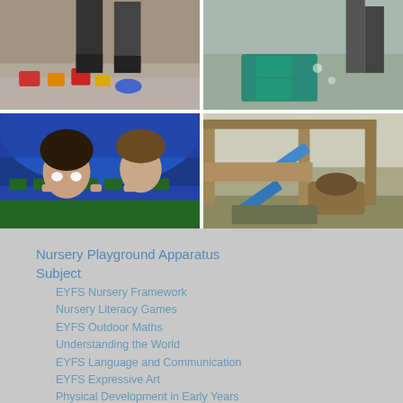[Figure (photo): Top-left: playground ground level with colorful building blocks (red, yellow, blue) on pavement, adult feet/legs visible]
[Figure (photo): Top-right: outdoor play area with foam/rubber mat tiles in teal color, adult legs visible in background]
[Figure (photo): Bottom-left: two young children peeking over a green and blue play structure, smiling]
[Figure (photo): Bottom-right: wooden outdoor play structure with a blue slide and tunnel, in a garden setting]
Nursery Playground Apparatus
Subject
EYFS Nursery Framework
Nursery Literacy Games
EYFS Outdoor Maths
Understanding the World
EYFS Language and Communication
EYFS Expressive Art
Physical Development in Early Years